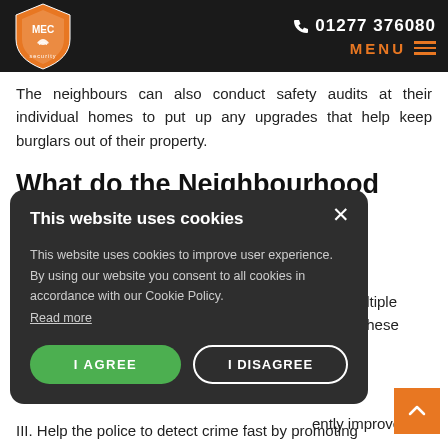MEC Security | ☎ 01277 376080 | MENU
The neighbours can also conduct safety audits at their individual homes to put up any upgrades that help keep burglars out of their property.
What do the Neighbourhood
[Figure (screenshot): Cookie consent modal overlay with dark background. Title: 'This website uses cookies'. Body text: 'This website uses cookies to improve user experience. By using our website you consent to all cookies in accordance with our Cookie Policy. Read more'. Two buttons: 'I AGREE' (green) and 'I DISAGREE' (outlined white). Close X button top right.]
bout multiple ome of these
ently improves
III. Help the police to detect crime fast by promoting